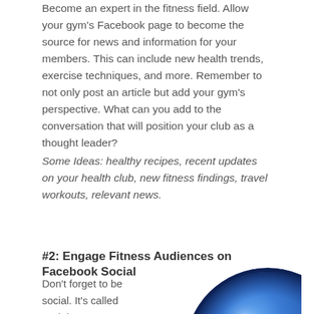Become an expert in the fitness field. Allow your gym's Facebook page to become the source for news and information for your members. This can include new health trends, exercise techniques, and more. Remember to not only post an article but add your gym's perspective. What can you add to the conversation that will position your club as a thought leader?
Some Ideas: healthy recipes, recent updates on your health club, new fitness findings, travel workouts, relevant news.
#2: Engage Fitness Audiences on Facebook Social
Don't forget to be social. It's called social
[Figure (illustration): A shiny blue 3D sphere/button, partially visible at the bottom right of the page]